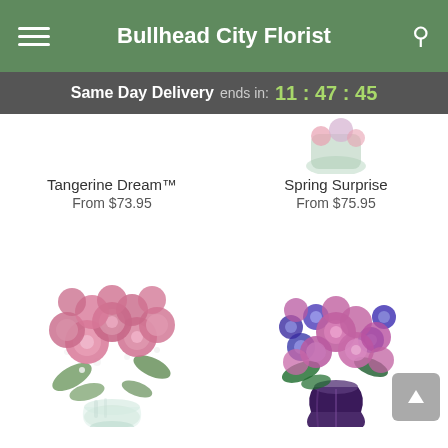Bullhead City Florist
Same Day Delivery ends in: 11 : 47 : 45
[Figure (photo): Partial top view of a flower vase with spring flowers (right column, top of page)]
Tangerine Dream™
From $73.95
Spring Surprise
From $75.95
[Figure (photo): Bouquet of pink roses in a clear glass vase]
[Figure (photo): Bouquet of pink roses and purple/blue asters in a dark purple vase]